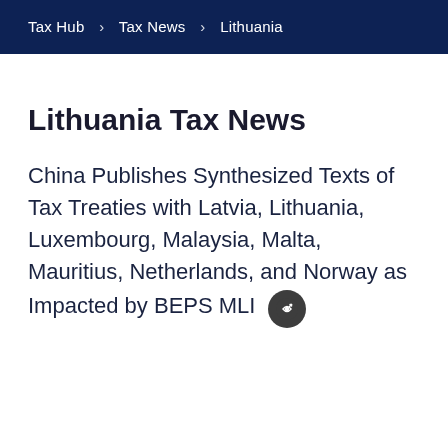Tax Hub > Tax News > Lithuania
Lithuania Tax News
China Publishes Synthesized Texts of Tax Treaties with Latvia, Lithuania, Luxembourg, Malaysia, Malta, Mauritius, Netherlands, and Norway as Impacted by BEPS MLI